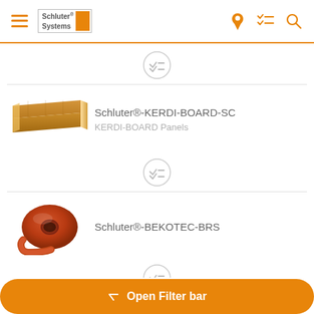[Figure (screenshot): Schluter Systems mobile app header with hamburger menu, logo, location pin, checklist and search icons in orange]
[Figure (other): Circular checklist/filter icon in gray outline]
[Figure (photo): Photo of Schluter KERDI-BOARD-SC panel product - a long rectangular foam board with orange surface]
Schluter®-KERDI-BOARD-SC
KERDI-BOARD Panels
[Figure (other): Circular checklist/filter icon in gray outline]
[Figure (photo): Photo of Schluter BEKOTEC-BRS product - a roll of orange/terracotta colored foam strip]
Schluter®-BEKOTEC-BRS
[Figure (other): Circular checklist/filter icon partially visible at bottom]
Open Filter bar